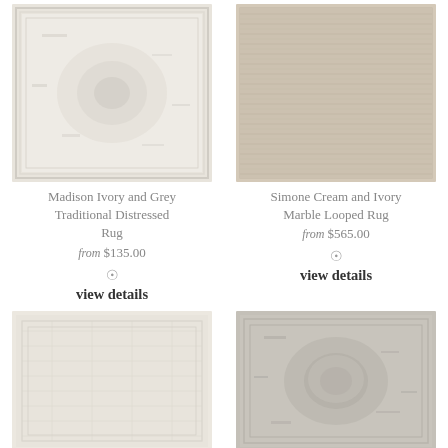[Figure (photo): Madison Ivory and Grey Traditional Distressed Rug product image - light grey/ivory distressed pattern rug]
Madison Ivory and Grey Traditional Distressed Rug
from $135.00
view details
[Figure (photo): Simone Cream and Ivory Marble Looped Rug product image - cream/beige woven texture rug]
Simone Cream and Ivory Marble Looped Rug
from $565.00
view details
[Figure (photo): Bottom left rug - cream/ivory with subtle geometric pattern]
[Figure (photo): Bottom right rug - grey/silver with distressed traditional pattern]